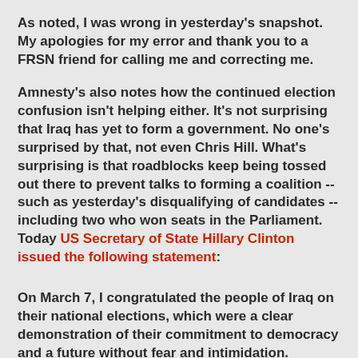As noted, I was wrong in yesterday's snapshot. My apologies for my error and thank you to a FRSN friend for calling me and correcting me.
Amnesty's also notes how the continued election confusion isn't helping either. It's not surprising that Iraq has yet to form a government. No one's surprised by that, not even Chris Hill. What's surprising is that roadblocks keep being tossed out there to prevent talks to forming a coalition -- such as yesterday's disqualifying of candidates -- including two who won seats in the Parliament. Today US Secretary of State Hillary Clinton issued the following statement:
On March 7, I congratulated the people of Iraq on their national elections, which were a clear demonstration of their commitment to democracy and a future without fear and intimidation.
Iraq's Independent High Electoral Commission (IHEC), the United Nations, the Arab League, and both